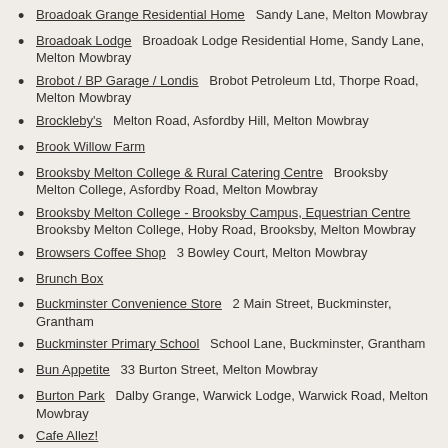Broadoak Grange Residential Home   Sandy Lane, Melton Mowbray
Broadoak Lodge   Broadoak Lodge Residential Home, Sandy Lane, Melton Mowbray
Brobot / BP Garage / Londis   Brobot Petroleum Ltd, Thorpe Road, Melton Mowbray
Brockleby's   Melton Road, Asfordby Hill, Melton Mowbray
Brook Willow Farm
Brooksby Melton College & Rural Catering Centre   Brooksby Melton College, Asfordby Road, Melton Mowbray
Brooksby Melton College - Brooksby Campus, Equestrian Centre   Brooksby Melton College, Hoby Road, Brooksby, Melton Mowbray
Browsers Coffee Shop   3 Bowley Court, Melton Mowbray
Brunch Box
Buckminster Convenience Store   2 Main Street, Buckminster, Grantham
Buckminster Primary School   School Lane, Buckminster, Grantham
Bun Appetite   33 Burton Street, Melton Mowbray
Burton Park   Dalby Grange, Warwick Lodge, Warwick Road, Melton Mowbray
Cafe Allez!
Caffe Italia   10 Church Street, Melton Mowbray
Caffe Nero   31 - 32 Market Place, Melton Mowbray